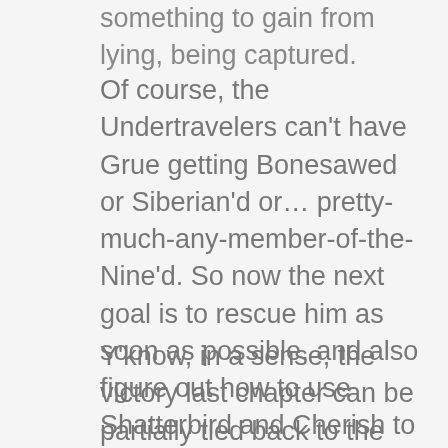something to gain from lying, being captured.
Of course, the Undertravelers can't have Grue getting Bonesawed or Siberian'd or… pretty-much-any-member-of-the-Nine'd. So now the next goal is to rescue him as soon as possible, and also figure out how to use Shatterbird and Cherish to their advantage when Cherish has told the other Nine about Regent. Of course, even if they fail to do that, just having them out of the fight is a benefit.
Y'know, in a sense, the victory last chapter can be partially tied back to the same event that earned Tattletale her glasgow smile. If she hadn't tried to mess with Jack by alerting him to Cherish's betrayal, she wouldn't have been in the position where she'd want to make a deal with the locals. Yet. And that's a major reason the Undertravelers are still alive, so hey,